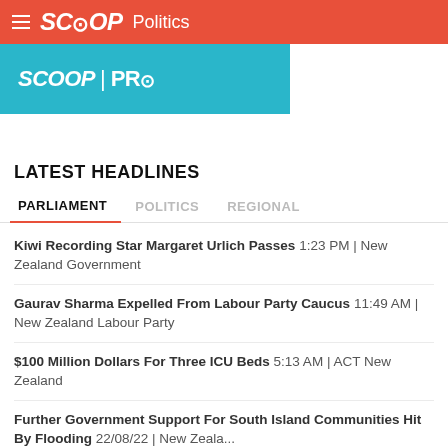SCOOP Politics
[Figure (screenshot): SCOOP PRO teal banner advertisement]
LATEST HEADLINES
PARLIAMENT | POLITICS | REGIONAL (tab navigation)
Kiwi Recording Star Margaret Urlich Passes 1:23 PM | New Zealand Government
Gaurav Sharma Expelled From Labour Party Caucus 11:49 AM | New Zealand Labour Party
$100 Million Dollars For Three ICU Beds 5:13 AM | ACT New Zealand
Further Government Support For South Island Communities Hit By Flooding 22/08/22 | New Zeala...
Who's Telling The Truth On Mandatory Te Reo Māori For Teachers? 22/08/22 | ACT New Zealand
Government To Take Control Of Kiwibank 22/08/22 | New Zealand...